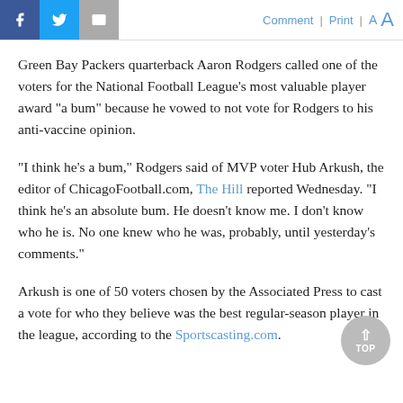Facebook | Twitter | Email | Comment | Print | A A
Green Bay Packers quarterback Aaron Rodgers called one of the voters for the National Football League's most valuable player award "a bum" because he vowed to not vote for Rodgers to his anti-vaccine opinion.
"I think he's a bum," Rodgers said of MVP voter Hub Arkush, the editor of ChicagoFootball.com, The Hill reported Wednesday. "I think he's an absolute bum. He doesn't know me. I don't know who he is. No one knew who he was, probably, until yesterday's comments."
Arkush is one of 50 voters chosen by the Associated Press to cast a vote for who they believe was the best regular-season player in the league, according to the Sportscasting.com.